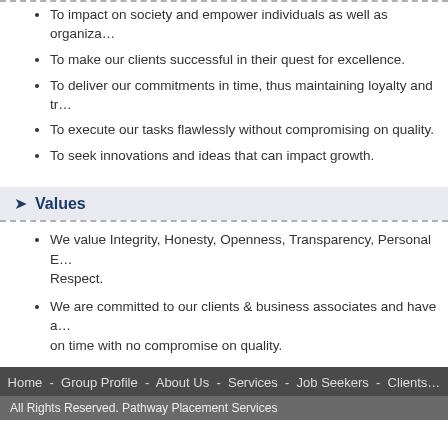To impact on society and empower individuals as well as organizations.
To make our clients successful in their quest for excellence.
To deliver our commitments in time, thus maintaining loyalty and tr...
To execute our tasks flawlessly without compromising on quality.
To seek innovations and ideas that can impact growth.
Values
We value Integrity, Honesty, Openness, Transparency, Personal E... Respect.
We are committed to our clients & business associates and have a... on time with no compromise on quality.
We hold ourselves accountable to our clients, business associates... pinnacle.
Home - Group Profile - About Us - Services - Job Seekers - Clients
All Rights Reserved. Pathway Placement Services